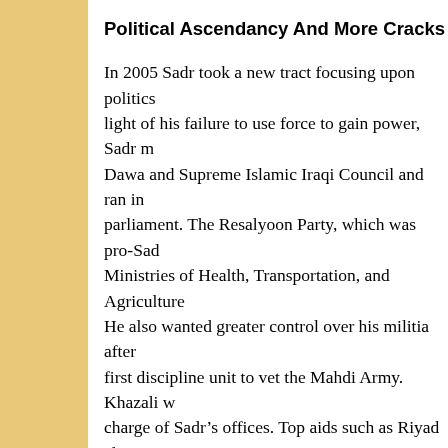Political Ascendancy And More Cracks
In 2005 Sadr took a new tract focusing upon politics in light of his failure to use force to gain power, Sadr m Dawa and Supreme Islamic Iraqi Council and ran in parliament. The Resalyoon Party, which was pro-Sad Ministries of Health, Transportation, and Agriculture He also wanted greater control over his militia after first discipline unit to vet the Mahdi Army. Khazali w charge of Sadr's offices. Top aids such as Riyad al-N programs, which was the origins of the movement w
Not all were happy with the move away from confro continue the fight against the occupation rather than Guards Qods Force who was looking to peel off part over Shiite militias. They expanded their recruiting i Daqduq for example, a senior Hezbollah officer was